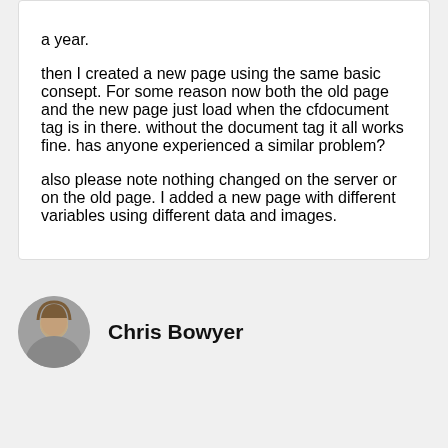a year.

then I created a new page using the same basic consept. For some reason now both the old page and the new page just load when the cfdocument tag is in there. without the document tag it all works fine. has anyone experienced a similar problem?

also please note nothing changed on the server or on the old page. I added a new page with different variables using different data and images.
Chris Bowyer